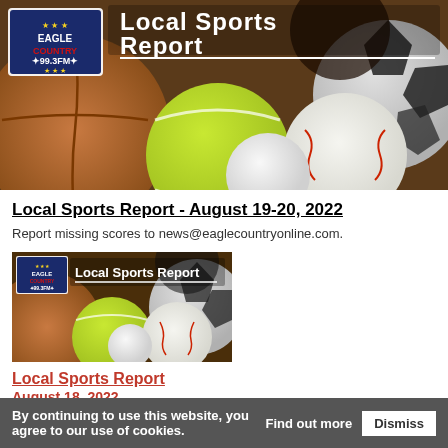[Figure (photo): Eagle Country 99.3FM Local Sports Report banner image with various sports balls (basketball, football, tennis ball, baseball, soccer ball, golf ball) and the Eagle Country logo]
Local Sports Report - August 19-20, 2022
Report missing scores to news@eaglecountryonline.com.
[Figure (photo): Smaller thumbnail of Eagle Country Local Sports Report image with sports balls]
Local Sports Report
August 18, 2022
By continuing to use this website, you agree to our use of cookies. Find out more Dismiss